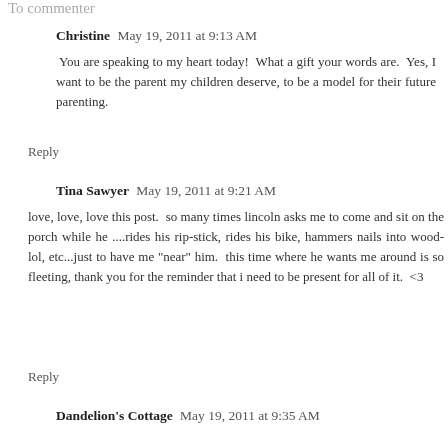To commenter
Christine  May 19, 2011 at 9:13 AM
You are speaking to my heart today!  What a gift your words are.  Yes, I want to be the parent my children deserve, to be a model for their future parenting.
Reply
Tina Sawyer  May 19, 2011 at 9:21 AM
love, love, love this post.  so many times lincoln asks me to come and sit on the porch while he ....rides his rip-stick, rides his bike, hammers nails into wood- lol, etc...just to have me "near" him.  this time where he wants me around is so fleeting, thank you for the reminder that i need to be present for all of it.  <3
Reply
Dandelion's Cottage  May 19, 2011 at 9:35 AM